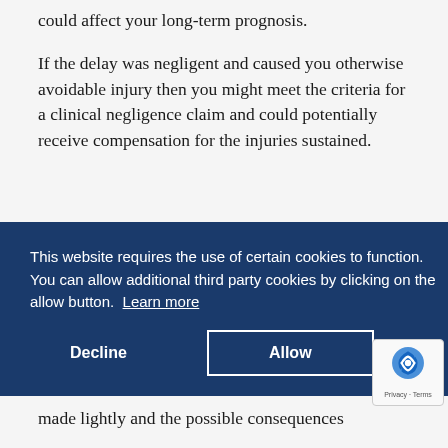could affect your long-term prognosis.
If the delay was negligent and caused you otherwise avoidable injury then you might meet the criteria for a clinical negligence claim and could potentially receive compensation for the injuries sustained.
[Figure (screenshot): Cookie consent overlay banner with dark navy blue background. Contains text: 'This website requires the use of certain cookies to function. You can allow additional third party cookies by clicking on the allow button. Learn more' with Decline and Allow buttons. A reCAPTCHA badge is visible at the bottom right.]
made lightly and the possible consequences